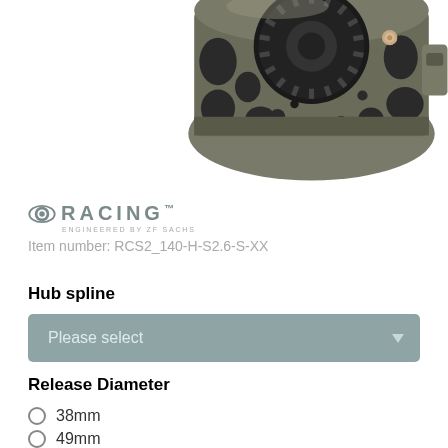[Figure (photo): Close-up photo of a clutch component — metallic grey/olive colored pressure plate with latticed/webbed structure and internal gear teeth visible from above, with copper/rose gold accents. ZF Sachs Racing product.]
RACING™ ENGINEERED BY ZF SACHS
Item number: RCS2_140-H-S2.6-S-XX
Hub spline
Please select
Release Diameter
38mm
49mm